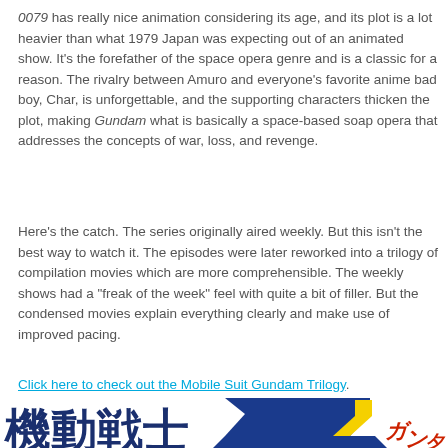0079 has really nice animation considering its age, and its plot is a lot heavier than what 1979 Japan was expecting out of an animated show. It's the forefather of the space opera genre and is a classic for a reason. The rivalry between Amuro and everyone's favorite anime bad boy, Char, is unforgettable, and the supporting characters thicken the plot, making Gundam what is basically a space-based soap opera that addresses the concepts of war, loss, and revenge.
Here's the catch. The series originally aired weekly. But this isn't the best way to watch it. The episodes were later reworked into a trilogy of compilation movies which are more comprehensible. The weekly shows had a "freak of the week" feel with quite a bit of filler. But the condensed movies explain everything clearly and make use of improved pacing.
Click here to check out the Mobile Suit Gundam Trilogy.
[Figure (logo): Partial view of Mobile Suit Zeta Gundam logo with Japanese characters 機動戦士 and stylized Z letter in blue, yellow and red colors]